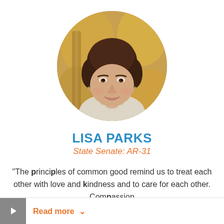[Figure (photo): Circular portrait photo of Lisa Parks, a woman with short dark hair wearing a light-colored top and necklace, with a blurred golden/autumn background]
LISA PARKS
State Senate: AR-31
“The principles of common good remind us to treat each other with love and kindness and to care for each other. Compassion
Read more ∨